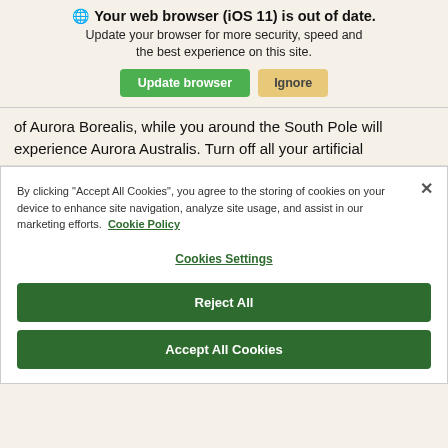[Figure (screenshot): Browser update notification banner with globe icon, title 'Your web browser (iOS 11) is out of date.', subtext 'Update your browser for more security, speed and the best experience on this site.', and two buttons: 'Update browser' (green) and 'Ignore' (tan/yellow).]
of Aurora Borealis, while you around the South Pole will experience Aurora Australis. Turn off all your artificial
[Figure (screenshot): Cookie consent modal overlay with close X button, text about accepting cookies, Cookie Policy link, Cookies Settings link, Reject All button, and Accept All Cookies button.]